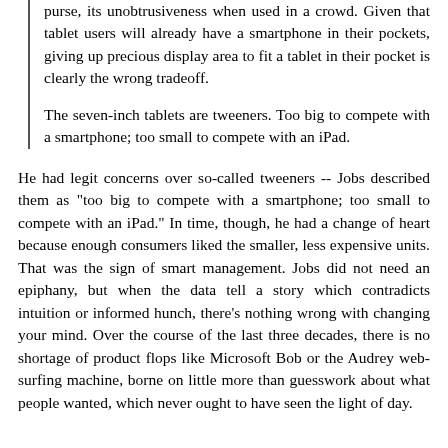purse, its unobtrusiveness when used in a crowd. Given that tablet users will already have a smartphone in their pockets, giving up precious display area to fit a tablet in their pocket is clearly the wrong tradeoff.
The seven-inch tablets are tweeners. Too big to compete with a smartphone; too small to compete with an iPad.
He had legit concerns over so-called tweeners -- Jobs described them as "too big to compete with a smartphone; too small to compete with an iPad." In time, though, he had a change of heart because enough consumers liked the smaller, less expensive units. That was the sign of smart management. Jobs did not need an epiphany, but when the data tell a story which contradicts intuition or informed hunch, there's nothing wrong with changing your mind. Over the course of the last three decades, there is no shortage of product flops like Microsoft Bob or the Audrey web-surfing machine, borne on little more than guesswork about what people wanted, which never ought to have seen the light of day.